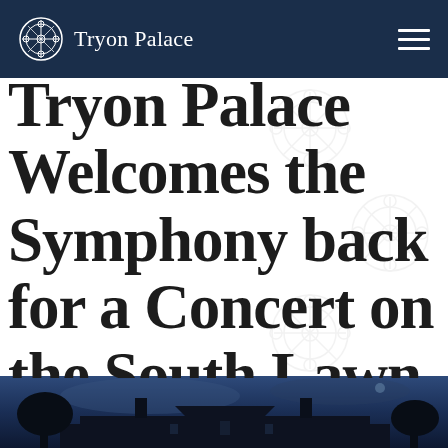Tryon Palace
Tryon Palace Welcomes the Symphony back for a Concert on the South Lawn on June 23, 2022
[Figure (photo): Night-time silhouette of a historic building (Tryon Palace) against a dark blue twilight sky, with chimneys and trees visible]